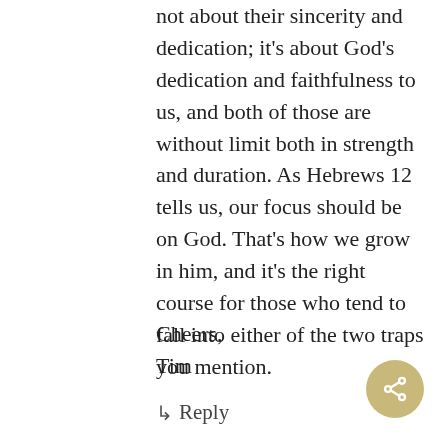not about their sincerity and dedication; it's about God's dedication and faithfulness to us, and both of those are without limit both in strength and duration. As Hebrews 12 tells us, our focus should be on God. That's how we grow in him, and it's the right course for those who tend to fall into either of the two traps you mention.
Cheers,
Tim
↳ Reply